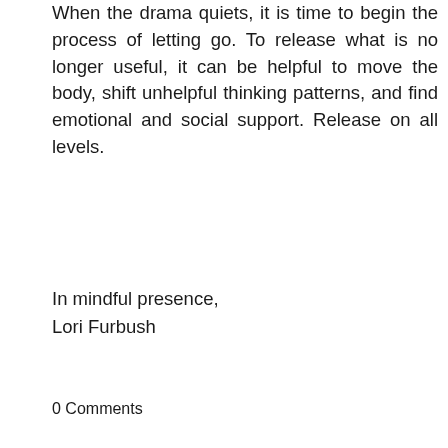When the drama quiets, it is time to begin the process of letting go. To release what is no longer useful, it can be helpful to move the body, shift unhelpful thinking patterns, and find emotional and social support. Release on all levels.
In mindful presence,
Lori Furbush
0 Comments